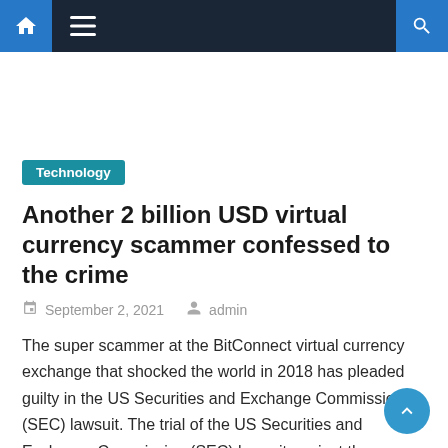Navigation bar with home, menu, and search icons
[Figure (other): Advertisement placeholder area (blank white space)]
Technology
Another 2 billion USD virtual currency scammer confessed to the crime
September 2, 2021   admin
The super scammer at the BitConnect virtual currency exchange that shocked the world in 2018 has pleaded guilty in the US Securities and Exchange Commission (SEC) lawsuit. The trial of the US Securities and Exchange Commission (SEC) lawsuit against the founder of virtual currency exchange BitConnect ended on Wednesday. The SEC